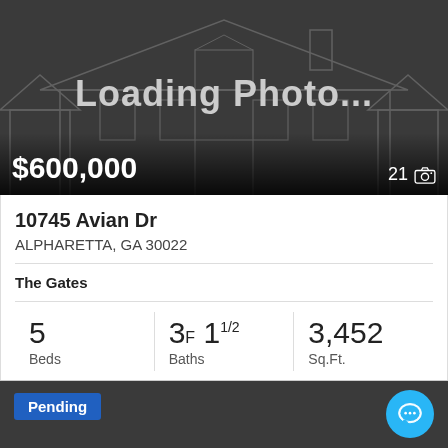[Figure (screenshot): Loading photo placeholder with grey house outline illustration and 'Loading Photo...' text overlay]
$600,000
21 [camera icon]
10745 Avian Dr
ALPHARETTA, GA 30022
The Gates
5 Beds
3F 1 1/2 Baths
3,452 Sq.Ft.
FMLS Sanders Team Realty
Pending